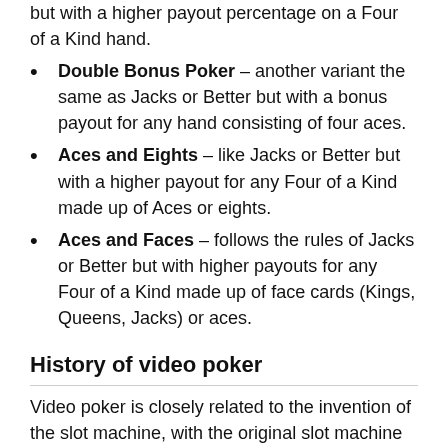but with a higher payout percentage on a Four of a Kind hand.
Double Bonus Poker – another variant the same as Jacks or Better but with a bonus payout for any hand consisting of four aces.
Aces and Eights – like Jacks or Better but with a higher payout for any Four of a Kind made up of Aces or eights.
Aces and Faces – follows the rules of Jacks or Better but with higher payouts for any Four of a Kind made up of face cards (Kings, Queens, Jacks) or aces.
History of video poker
Video poker is closely related to the invention of the slot machine, with the original slot machine first being patented around the late 19th Century by Charles Fey. After the booming popularity of Fey's Liberty Bell machine, many inventors tried to get on board to coin...